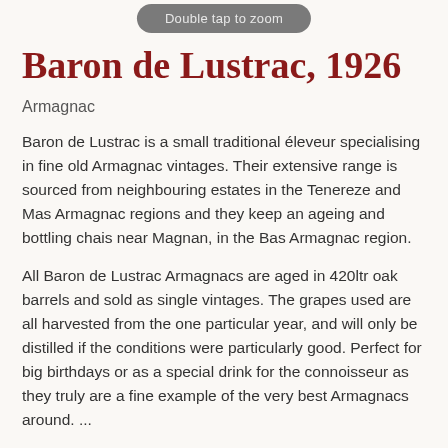Double tap to zoom
Baron de Lustrac, 1926
Armagnac
Baron de Lustrac is a small traditional éleveur specialising in fine old Armagnac vintages. Their extensive range is sourced from neighbouring estates in the Tenereze and Mas Armagnac regions and they keep an ageing and bottling chais near Magnan, in the Bas Armagnac region.
All Baron de Lustrac Armagnacs are aged in 420ltr oak barrels and sold as single vintages. The grapes used are all harvested from the one particular year, and will only be distilled if the conditions were particularly good. Perfect for big birthdays or as a special drink for the connoisseur as they truly are a fine example of the very best Armagnacs around. ...
more >>>